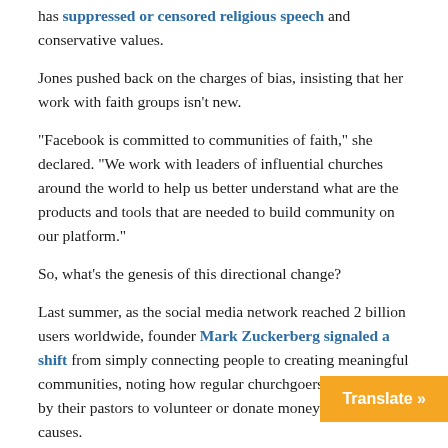has suppressed or censored religious speech and conservative values.
Jones pushed back on the charges of bias, insisting that her work with faith groups isn't new.
“Facebook is committed to communities of faith,” she declared. “We work with leaders of influential churches around the world to help us better understand what are the products and tools that are needed to build community on our platform.”
So, what’s the genesis of this directional change?
Last summer, as the social media network reached 2 billion users worldwide, founder Mark Zuckerberg signaled a shift from simply connecting people to creating meaningful communities, noting how regular churchgoers are inspired by their pastors to volunteer or donate money to charitable causes.
Other Churches Joining the Social Media N...
Translate »